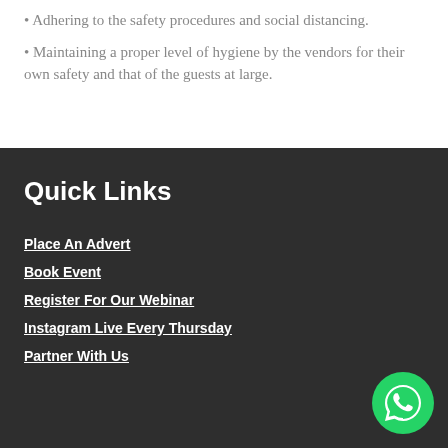Adhering to the safety procedures and social distancing.
Maintaining a proper level of hygiene by the vendors for their own safety and that of the guests at large.
Quick Links
Place An Advert
Book Event
Register For Our Webinar
Instagram Live Every Thursday
Partner With Us